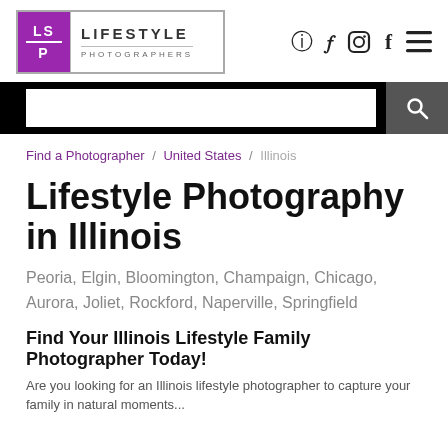[Figure (logo): Lifestyle Photographers logo with purple LS/P box on left and text on right]
[Figure (infographic): Navigation icons: Instagram camera, Facebook f, and hamburger menu]
[Figure (screenshot): Search bar with white input field and dark search button with magnifying glass icon]
Find a Photographer / United States / Illinois
Lifestyle Photography in Illinois
Peoria, Elgin, Bloomington, Champaign, Chicago, Aurora, Joliet, Rockford, Naperville, Springfield
Find Your Illinois Lifestyle Family Photographer Today!
Are you looking for an Illinois lifestyle photographer to capture your family in natural moments...